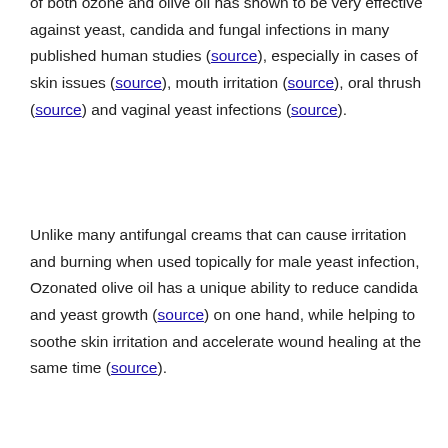of both ozone and olive oil has shown to be very effective against yeast, candida and fungal infections in many published human studies (source), especially in cases of skin issues (source), mouth irritation (source), oral thrush (source) and vaginal yeast infections (source).
Unlike many antifungal creams that can cause irritation and burning when used topically for male yeast infection, Ozonated olive oil has a unique ability to reduce candida and yeast growth (source) on one hand, while helping to soothe skin irritation and accelerate wound healing at the same time (source).